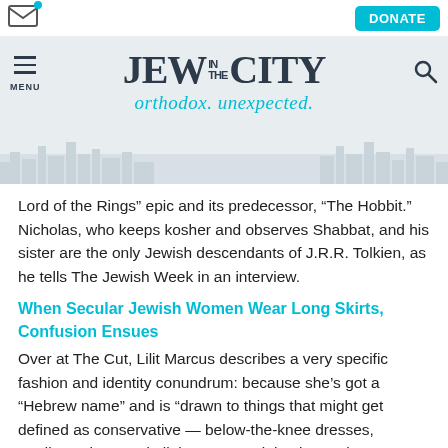[Figure (logo): Jew in the City logo with tagline 'orthodox. unexpected.' on a light grey background with skyline silhouette]
Lord of the Rings” epic and its predecessor, “The Hobbit.” Nicholas, who keeps kosher and observes Shabbat, and his sister are the only Jewish descendants of J.R.R. Tolkien, as he tells The Jewish Week in an interview.
When Secular Jewish Women Wear Long Skirts, Confusion Ensues
Over at The Cut, Lilit Marcus describes a very specific fashion and identity conundrum: because she’s got a “Hebrew name” and is “drawn to things that might get defined as conservative — below-the-knee dresses, cardigans buttoned all the way up, tights in nearly every